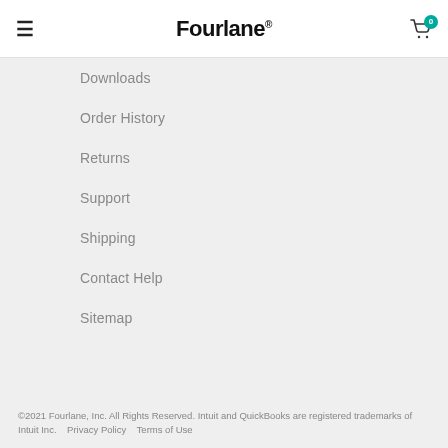Fourlane®
Downloads
Order History
Returns
Support
Shipping
Contact Help
Sitemap
©2021 Fourlane, Inc. All Rights Reserved. Intuit and QuickBooks are registered trademarks of Intuit Inc.    Privacy Policy    Terms of Use